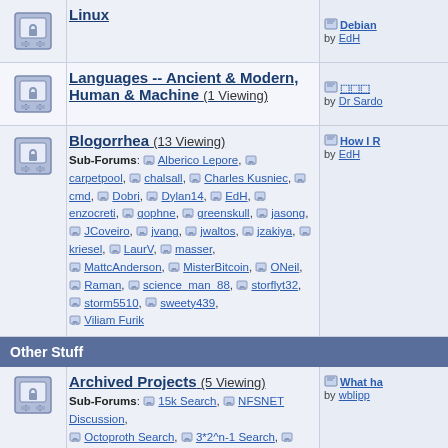Linux
Languages -- Ancient & Modern, Human & Machine (1 Viewing)
Blogorrhea (13 Viewing) Sub-Forums: Alberico Lepore, carpetpool, chalsall, Charles Kusniec, cmd, Dobri, Dylan14, EdH, enzocreti, gophne, greenskull, jasong, JCoveiro, jvang, jwaltos, jzakiya, kriesel, LaurV, masser, MattcAnderson, MisterBitcoin, ONeil, Raman, science_man_88, storflyt32, storm5510, sweety439, Viliam Furik
Other Stuff
Archived Projects (5 Viewing) Sub-Forums: 15k Search, NFSNET Discussion, Octoproth Search, 3*2^n-1 Search, Prime Cullen Prime, PSearch, Riesel Base 3 Attack, NeRDs, ElevenSmooth
Forum Feedback http://www.mersenneforum.org/
Open Projects (2 Viewing) Sub-Forums: Riesel Prime Data Collecting (k*2^n-1), y-cruncher